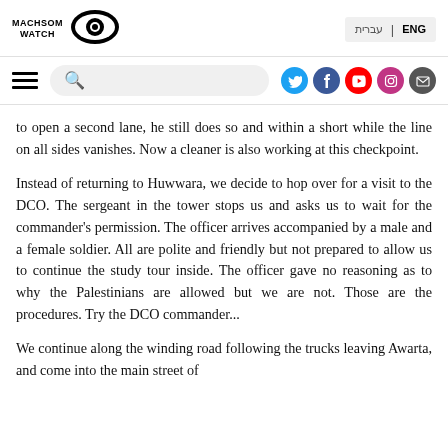MACHSOM WATCH | ENG | עברית
[Figure (logo): Machsom Watch logo with eye icon]
to open a second lane, he still does so and within a short while the line on all sides vanishes. Now a cleaner is also working at this checkpoint.
Instead of returning to Huwwara, we decide to hop over for a visit to the DCO. The sergeant in the tower stops us and asks us to wait for the commander's permission. The officer arrives accompanied by a male and a female soldier. All are polite and friendly but not prepared to allow us to continue the study tour inside. The officer gave no reasoning as to why the Palestinians are allowed but we are not. Those are the procedures. Try the DCO commander...
We continue along the winding road following the trucks leaving Awarta, and come into the main street of